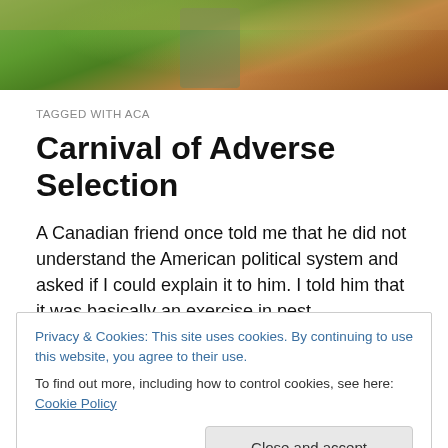[Figure (photo): Top banner photo showing outdoor scene with green foliage and reddish-brown earthy background, partial view of a person.]
TAGGED WITH ACA
Carnival of Adverse Selection
A Canadian friend once told me that he did not understand the American political system and asked if I could explain it to him. I told him that it was basically an exercise in pest management. On the one hand you have your smarmy
Privacy & Cookies: This site uses cookies. By continuing to use this website, you agree to their use.
To find out more, including how to control cookies, see here: Cookie Policy
get on with your life.